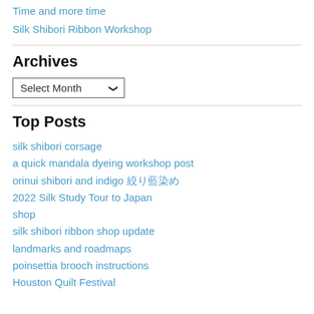Time and more time
Silk Shibori Ribbon Workshop
Archives
Select Month (dropdown)
Top Posts
silk shibori corsage
a quick mandala dyeing workshop post
orinui shibori and indigo 絞り藍染め
2022 Silk Study Tour to Japan
shop
silk shibori ribbon shop update
landmarks and roadmaps
poinsettia brooch instructions
Houston Quilt Festival